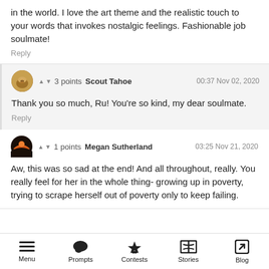in the world. I love the art theme and the realistic touch to your words that invokes nostalgic feelings. Fashionable job soulmate!
Reply
3 points  Scout Tahoe  00:37 Nov 02, 2020
Thank you so much, Ru! You're so kind, my dear soulmate.
Reply
1 points  Megan Sutherland  03:25 Nov 21, 2020
Aw, this was so sad at the end! And all throughout, really. You really feel for her in the whole thing- growing up in poverty, trying to scrape herself out of poverty only to keep failing.
Menu  Prompts  Contests  Stories  Blog